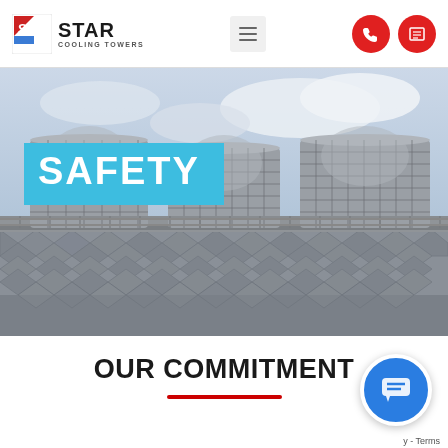[Figure (logo): Star Cooling Towers logo with stylized S flag icon in red/blue and bold STAR text with COOLING TOWERS subtitle]
[Figure (photo): Industrial cooling towers photographed from below against a cloudy sky. Three large cylindrical metal cooling towers on a flat roof with grid-patterned panels visible in foreground.]
SAFETY
OUR COMMITMENT